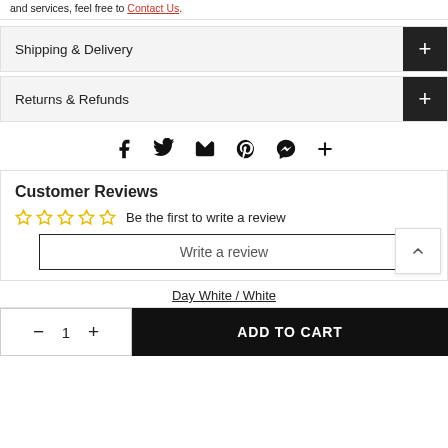and services, feel free to Contact Us.
Shipping & Delivery
Returns & Refunds
[Figure (infographic): Social share icons: Facebook, Twitter, Email, Pinterest, Messenger, Plus]
Customer Reviews
☆☆☆☆☆ Be the first to write a review
Write a review
Day White / White
- 1 + ADD TO CART